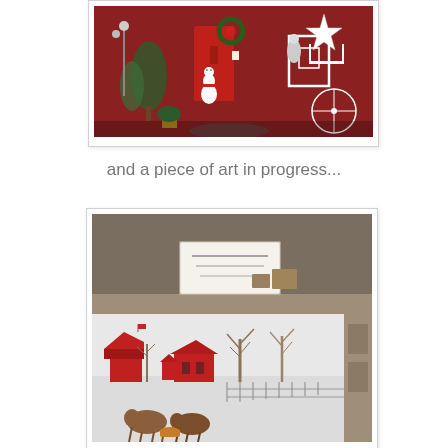[Figure (photo): A decorated barn or shop exterior with a red door. Christmas decorations visible including a snowman figure, wreaths, potted plants, white star ornament, white-painted frames/furniture arranged artistically. The building has red siding.]
and a piece of art in progress...
[Figure (photo): An art show or gallery display showing a painting in progress. The painting depicts a snowy winter farm scene with red barns, bare trees, and cows/cattle in a snow-covered field with a fence. A small label card is attached near the top of the canvas. The photo appears taken through glass or a frame.]